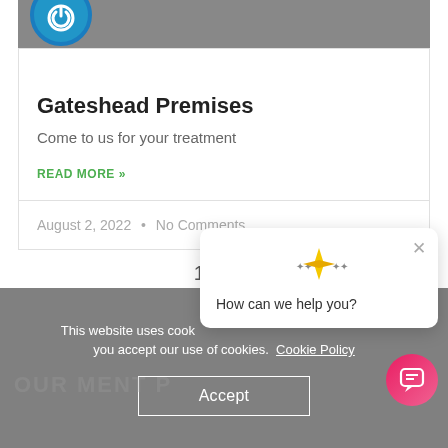[Figure (logo): Circular blue logo with power/undo icon on grey background header]
Gateshead Premises
Come to us for your treatment
READ MORE »
August 2, 2022  •  No Comments
1  2  3
This website uses cookies. By continuing to use this site, you accept our use of cookies.  Cookie Policy
Accept
[Figure (infographic): Chat popup widget with gold diamond sparkle icon and text 'How can we help you?' with X close button]
[Figure (infographic): Pink/red circular chat FAB button with chat bubble icon]